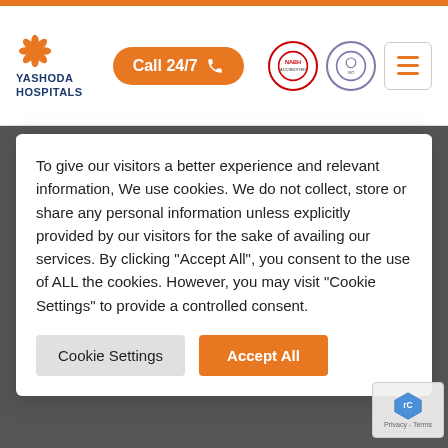[Figure (logo): Yashoda Hospitals logo with orange flower icon and blue text]
Call 24/7
Cookie consent notice: To give our visitors a better experience and relevant information, We use cookies. We do not collect, store or share any personal information unless explicitly provided by our visitors for the sake of availing our services. By clicking “Accept All”, you consent to the use of ALL the cookies. However, you may visit "Cookie Settings" to provide a controlled consent.
Cookie Settings | Accept All
problems. They can treat conditions such as goiter, hypothyroidism, hyperthyroidism, Grave’s disease, etc.
8. Do endocrinologists treat PCOD?
Yes, endocrinologists who have experience managing sex hormones can help with the management of PCOD along with a gynecologist as a part of a multidisciplinary team.